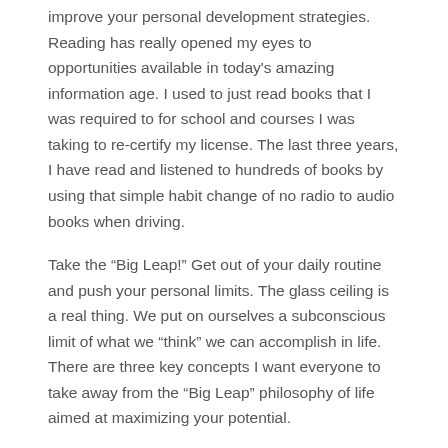improve your personal development strategies. Reading has really opened my eyes to opportunities available in today's amazing information age. I used to just read books that I was required to for school and courses I was taking to re-certify my license. The last three years, I have read and listened to hundreds of books by using that simple habit change of no radio to audio books when driving.
Take the “Big Leap!” Get out of your daily routine and push your personal limits. The glass ceiling is a real thing. We put on ourselves a subconscious limit of what we “think” we can accomplish in life. There are three key concepts I want everyone to take away from the “Big Leap” philosophy of life aimed at maximizing your potential.
We don’t believe we deserve to be happy all the time, so we cap our levels of joy for no reason.
Fear and self-sabotage are two common ceilings we...